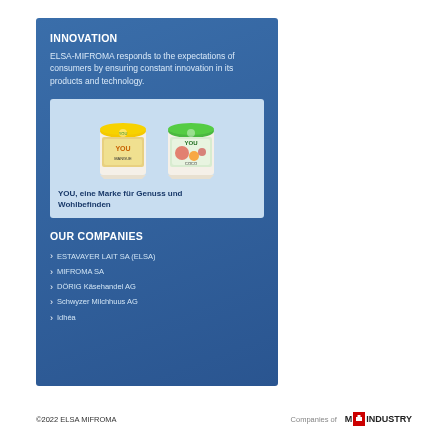INNOVATION
ELSA-MIFROMA responds to the expectations of consumers by ensuring constant innovation in its products and technology.
[Figure (photo): Two yogurt cups of the YOU brand - one yellow-lidded and one green-lidded, displayed on a light blue background]
YOU, eine Marke für Genuss und Wohlbefinden
OUR COMPANIES
ESTAVAYER LAIT SA (ELSA)
MIFROMA SA
DÖRIG Käsehandel AG
Schwyzer Milchhuus AG
Idhéa
©2022 ELSA MIFROMA    Companies of M|INDUSTRY